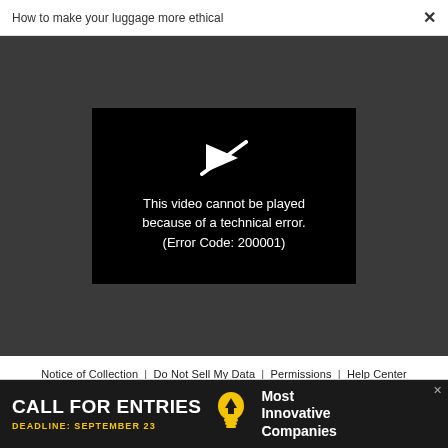How to make your luggage more ethical  ×
[Figure (screenshot): Video player on dark gray background showing black video frame with broken play icon (white arrow with slash) and error message: 'This video cannot be played because of a technical error. (Error Code: 200001)']
Notice of Collection  |  Do Not Sell My Data  |  Permissions  |  Help Center  |  About Us  |  Site Map  |  Fast Company & Inc © 2022 Mansueto Ventures, LLC
[Figure (screenshot): Advertisement banner: 'CALL FOR ENTRIES' with yellow text 'DEADLINE: SEPTEMBER 23' and lightbulb icon, alongside white text 'Most Innovative Companies' on dark background. Close X button top right.]